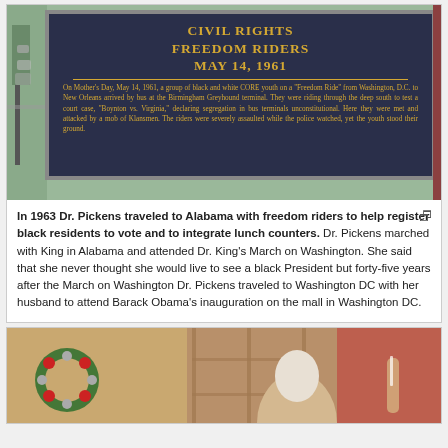[Figure (photo): Photo of a historical Civil Rights Freedom Riders marker sign dated May 14, 1961, mounted on a post in what appears to be Birmingham, Alabama. The dark navy blue sign has gold/yellow text describing the Freedom Riders event.]
In 1963 Dr. Pickens traveled to Alabama with freedom riders to help register black residents to vote and to integrate lunch counters. Dr. Pickens marched with King in Alabama and attended Dr. King's March on Washington. She said that she never thought she would live to see a black President but forty-five years after the March on Washington Dr. Pickens traveled to Washington DC with her husband to attend Barack Obama's inauguration on the mall in Washington DC.
[Figure (photo): Photo of people at what appears to be a holiday or festive gathering, with a Christmas wreath visible on the left with red and silver ornaments, and people visible in the background.]